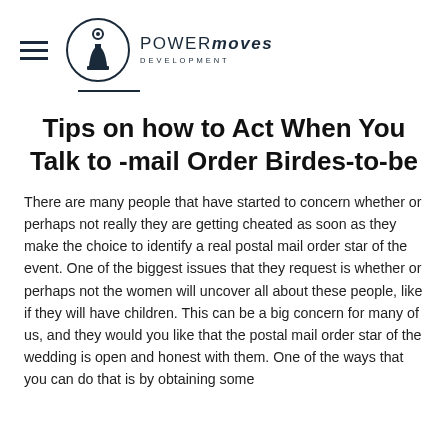POWER moves DEVELOPMENT
Tips on how to Act When You Talk to -mail Order Birdes-to-be
There are many people that have started to concern whether or perhaps not really they are getting cheated as soon as they make the choice to identify a real postal mail order star of the event. One of the biggest issues that they request is whether or perhaps not the women will uncover all about these people, like if they will have children. This can be a big concern for many of us, and they would you like that the postal mail order star of the wedding is open and honest with them. One of the ways that you can do that is by obtaining some